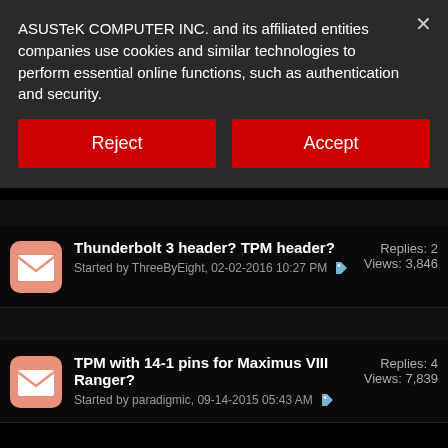ASUSTeK COMPUTER INC. and its affiliated entities companies use cookies and similar technologies to perform essential online functions, such as authentication and security.
Reject
Accept
Thunderbolt 3 header? TPM header?
Started by ThreeByEight, 02-02-2016 10:27 PM
Replies: 2  Views: 3,846
TPM with 14-1 pins for Maximus VIII Ranger?
Started by paradigmic, 09-14-2015 05:43 AM
Replies: 4  Views: 7,839
Does G75VW motherboard support TPM? Can it
Replies: 0